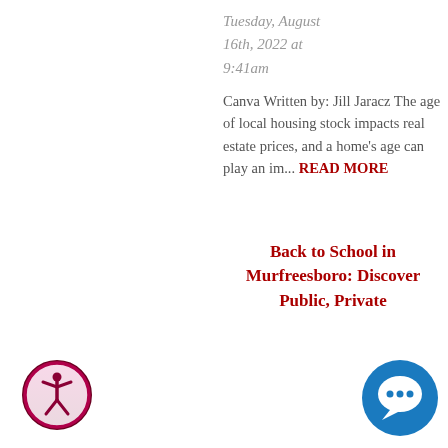Tuesday, August 16th, 2022 at 9:41am
Canva Written by: Jill Jaracz The age of local housing stock impacts real estate prices, and a home's age can play an im... READ MORE
Back to School in Murfreesboro: Discov... Publi... Private